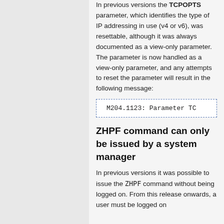In previous versions the TCPOPTS parameter, which identifies the type of IP addressing in use (v4 or v6), was resettable, although it was always documented as a view-only parameter. The parameter is now handled as a view-only parameter, and any attempts to reset the parameter will result in the following message:
M204.1123: Parameter TC
ZHPF command can only be issued by a system manager
In previous versions it was possible to issue the ZHPF command without being logged on. From this release onwards, a user must be logged on